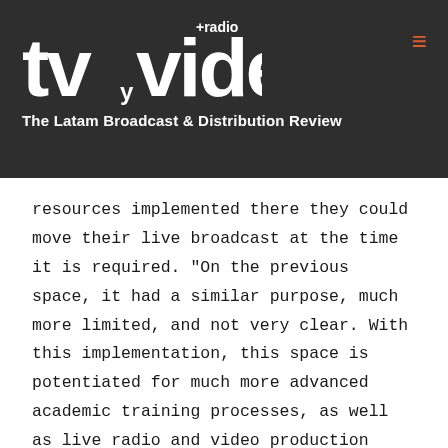tv y video +radio — The Latam Broadcast & Distribution Review
resources implemented there they could move their live broadcast at the time it is required. "On the previous space, it had a similar purpose, much more limited, and not very clear. With this implementation, this space is potentiated for much more advanced academic training processes, as well as live radio and video production processes, as required, taking advantage of the streaming broadcast platforms